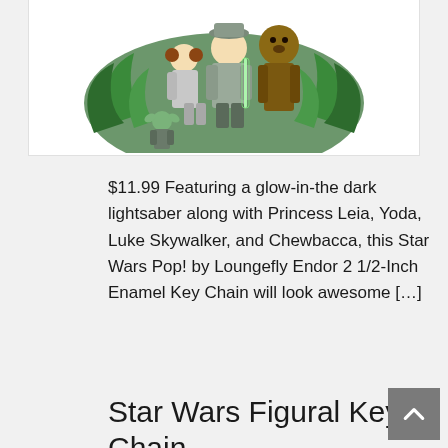[Figure (photo): Funko Pop figurines featuring Princess Leia, Yoda, Luke Skywalker, and Chewbacca characters from Star Wars Endor set, displayed on white background]
$11.99 Featuring a glow-in-the dark lightsaber along with Princess Leia, Yoda, Luke Skywalker, and Chewbacca, this Star Wars Pop! by Loungefly Endor 2 1/2-Inch Enamel Key Chain will look awesome [...]
READ MORE
Star Wars Figural Key Chain Display Case